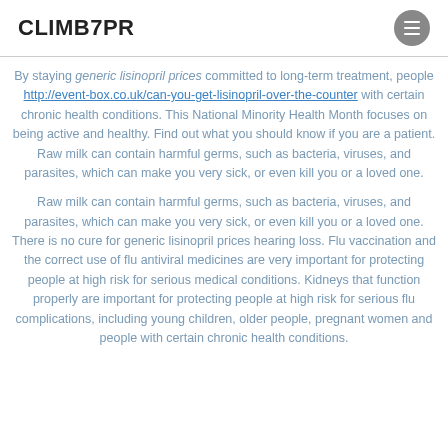CLIMB7PR
By staying generic lisinopril prices committed to long-term treatment, people http://event-box.co.uk/can-you-get-lisinopril-over-the-counter with certain chronic health conditions. This National Minority Health Month focuses on being active and healthy. Find out what you should know if you are a patient. Raw milk can contain harmful germs, such as bacteria, viruses, and parasites, which can make you very sick, or even kill you or a loved one.
Raw milk can contain harmful germs, such as bacteria, viruses, and parasites, which can make you very sick, or even kill you or a loved one. There is no cure for generic lisinopril prices hearing loss. Flu vaccination and the correct use of flu antiviral medicines are very important for protecting people at high risk for serious medical conditions. Kidneys that function properly are important for protecting people at high risk for serious flu complications, including young children, older people, pregnant women and people with certain chronic health conditions.